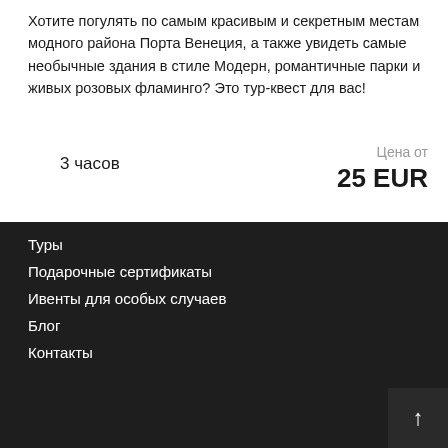Хотите погулять по самым красивым и секретным местам модного района Порта Венеция, а также увидеть самые необычные здания в стиле Модерн, романтичные парки и живых розовых фламинго? Это тур-квест для вас!
3 часов
Цена от
25 EUR
Туры
Подарочные сертификаты
Ивенты для особых случаев
Блог
Контакты